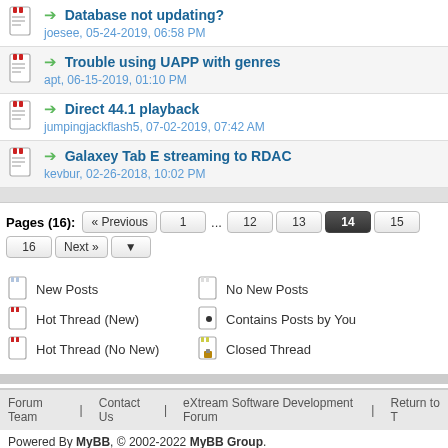Database not updating? — joesee, 05-24-2019, 06:58 PM
Trouble using UAPP with genres — apt, 06-15-2019, 01:10 PM
Direct 44.1 playback — jumpingjackflash5, 07-02-2019, 07:42 AM
Galaxey Tab E streaming to RDAC — kevbur, 02-26-2018, 10:02 PM
Pages (16): « Previous 1 ... 12 13 14 15 16 Next »
New Posts | No New Posts | Hot Thread (New) | Contains Posts by You | Hot Thread (No New) | Closed Thread
Forum Team | Contact Us | eXtream Software Development Forum | Return to T
Powered By MyBB, © 2002-2022 MyBB Group.